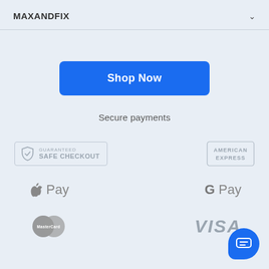MAXANDFIX
[Figure (screenshot): Shop Now button - blue rounded rectangle]
Secure payments
[Figure (logo): Guaranteed Safe Checkout badge with shield icon]
[Figure (logo): American Express logo]
[Figure (logo): Apple Pay logo]
[Figure (logo): G Pay logo]
[Figure (logo): MasterCard logo]
[Figure (logo): Visa logo]
[Figure (illustration): Blue chat/message bubble icon in bottom right corner]